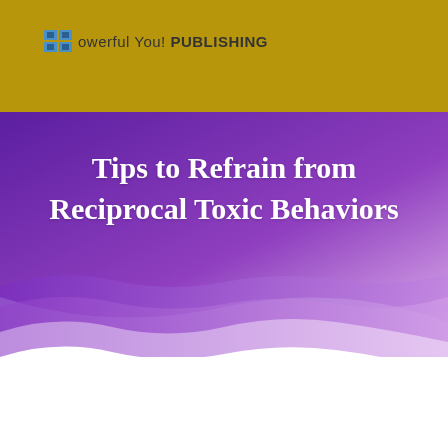Powerful You! PUBLISHING
Tips to Refrain from Reciprocal Toxic Behaviors